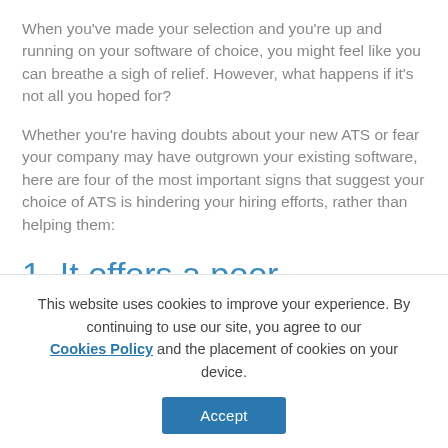When you've made your selection and you're up and running on your software of choice, you might feel like you can breathe a sigh of relief. However, what happens if it's not all you hoped for?
Whether you're having doubts about your new ATS or fear your company may have outgrown your existing software, here are four of the most important signs that suggest your choice of ATS is hindering your hiring efforts, rather than helping them:
1. It offers a poor candidate experience
This website uses cookies to improve your experience. By continuing to use our site, you agree to our Cookies Policy and the placement of cookies on your device.